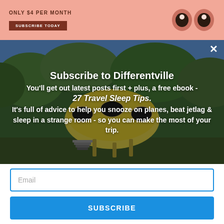[Figure (other): Top salmon/peach colored banner with text 'ONLY $4 PER MONTH' and a 'SUBSCRIBE TODAY' button, with decorative eye-like shapes on the right side]
[Figure (photo): Photo of a UFO/bubble-shaped building (Futuro house) surrounded by trees with blue sky, used as background for subscription popup overlay]
✕
Subscribe to Differentville
You'll get out latest posts first + plus, a free ebook -
27 Travel Sleep Tips.
It's full of advice to help you snooze on planes, beat jetlag & sleep in a strange room - so you can make the most of your trip.
Email
SUBSCRIBE